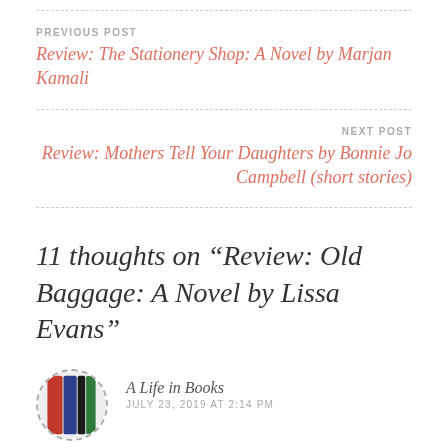PREVIOUS POST
Review: The Stationery Shop: A Novel by Marjan Kamali
NEXT POST
Review: Mothers Tell Your Daughters by Bonnie Jo Campbell (short stories)
11 thoughts on “Review: Old Baggage: A Novel by Lissa Evans”
A Life in Books
JULY 23, 2019 AT 2:14 PM